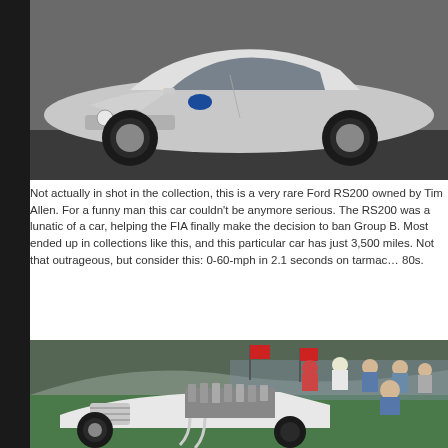[Figure (photo): White Ford RS200 sports car photographed in a studio/garage setting against a concrete wall background]
Not actually in shot in the collection, this is a very rare Ford RS200 owned by Tim Allen. For a funny man this car couldn't be anymore serious. The RS200 was a lunatic of a car, helping the FIA finally make the decision to ban Group B. Most ended up in collections like this, and this particular car has just 3,500 miles. Not that outrageous, but consider this: 0-60-mph in 2.1 seconds on tarmac... in the 80s.
[Figure (photo): Vintage custom white hot rod car with exposed engine on a green grass field, surrounded by people at what appears to be a car show, with red flags in the background]